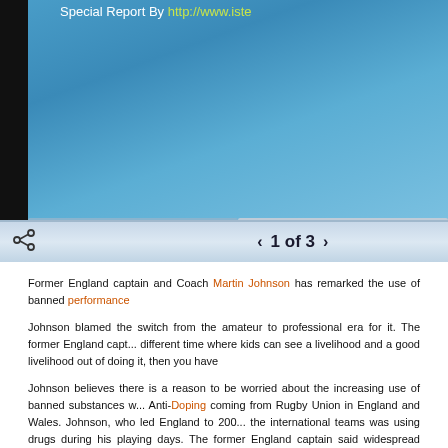[Figure (screenshot): Blue banner image with black left bar and 'Special Report By http://www.iste...' text at top]
1 of 3
Former England captain and Coach Martin Johnson has remarked the use of banned performance
Johnson blamed the switch from the amateur to professional era for it. The former England capt... different time where kids can see a livelihood and a good livelihood out of doing it, then you have
Johnson believes there is a reason to be worried about the increasing use of banned substances w... Anti-Doping coming from Rugby Union in England and Wales. Johnson, who led England to 200... the international teams was using drugs during his playing days. The former England captain said widespread because of the internet. Johnson added people are using drugs, by all account, for van